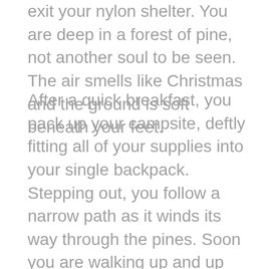exit your nylon shelter. You are deep in a forest of pine, not another soul to be seen. The air smells like Christmas and the ground is soft beneath your feet.
After a quick breakfast, you pack up your campsite, deftly fitting all of your supplies into your single backpack. Stepping out, you follow a narrow path as it winds its way through the pines. Soon you are walking up and up and up, the trail turns into a granite staircase and you start to sweat. Just before you decide you need a break, the pines shrink, fall away, and you find yourself on a rocky, exposed summit. Your breath catches in your throat as you stare around you with eyes wide with wonder. In every direction, as far as you can see, mountains and forest-clad hills roll off into the deep blue distance. You set down your pack, take a seat on a rock, and soak it all in. It is magnificent. It defies understanding. It is the White